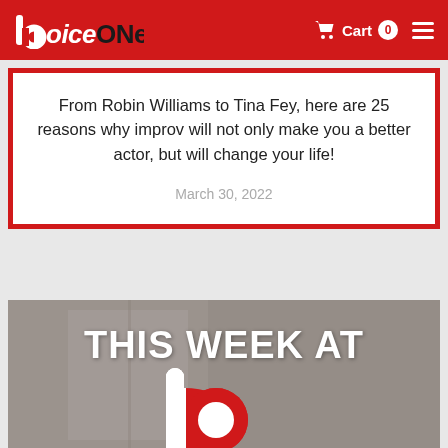VoiceONE — Cart 0
From Robin Williams to Tina Fey, here are 25 reasons why improv will not only make you a better actor, but will change your life!
March 30, 2022
[Figure (photo): Promotional image reading 'THIS WEEK AT' with the VoiceONE logo below it, on a muted background of a studio/classroom setting.]